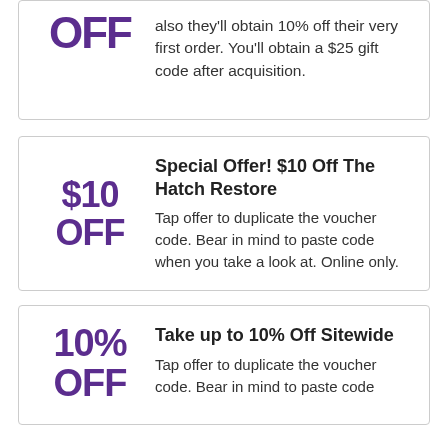OFF also they'll obtain 10% off their very first order. You'll obtain a $25 gift code after acquisition.
Special Offer! $10 Off The Hatch Restore
Tap offer to duplicate the voucher code. Bear in mind to paste code when you take a look at. Online only.
Take up to 10% Off Sitewide
Tap offer to duplicate the voucher code. Bear in mind to paste code